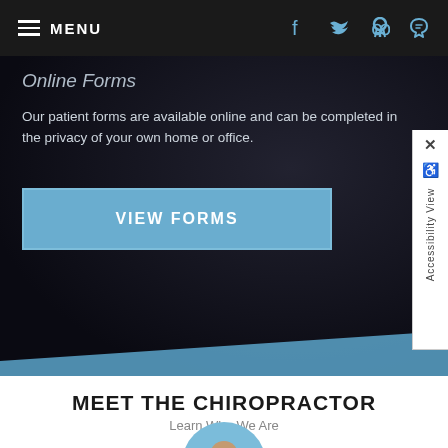MENU
Online Forms
Our patient forms are available online and can be completed in the privacy of your own home or office.
VIEW FORMS
MEET THE CHIROPRACTOR
Learn Who We Are
[Figure (photo): Circular cropped photo of a chiropractor with bowls in background, partially visible at bottom of page]